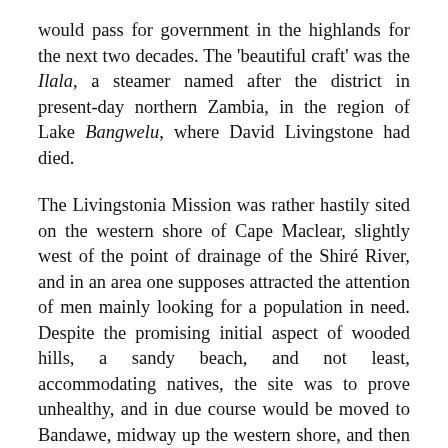would pass for government in the highlands for the next two decades. The 'beautiful craft' was the Ilala, a steamer named after the district in present-day northern Zambia, in the region of Lake Bangwelu, where David Livingstone had died.
The Livingstonia Mission was rather hastily sited on the western shore of Cape Maclear, slightly west of the point of drainage of the Shiré River, and in an area one supposes attracted the attention of men mainly looking for a population in need. Despite the promising initial aspect of wooded hills, a sandy beach, and not least, accommodating natives, the site was to prove unhealthy, and in due course would be moved to Bandawe, midway up the western shore, and then finally, some 20 years after the initial siting, to its present day site of Livingstonia on the north-western shore of the lake. The two missionaries then set about a